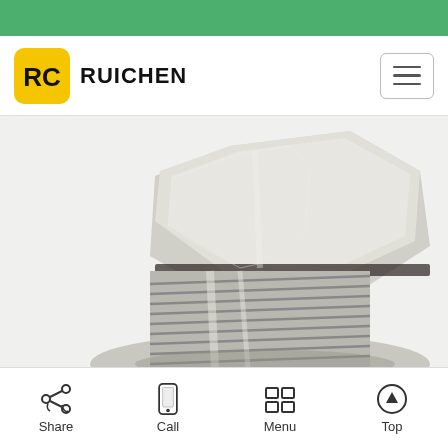RUICHEN
[Figure (photo): Close-up photo of a nickel-plated brass hex plug fitting with external male threads, showing the hexagonal head and threaded shank in detail.]
Share  Call  Menu  Top